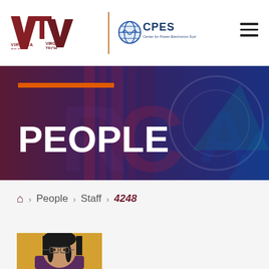[Figure (logo): Virginia Tech logo with VT monogram and VIRGINIA TECH text, followed by a vertical divider and CPES (Center for Power Electronics Systems) logo with globe icon]
[Figure (other): Hamburger menu icon (three horizontal lines) in top right corner]
[Figure (other): Dark banner with purple/blue geometric background, orange horizontal bar accent, and large white PEOPLE heading text]
PEOPLE
Home > People > Staff > 4248
[Figure (photo): Headshot photo of a woman with long dark hair wearing glasses, against an orange/yellow background]